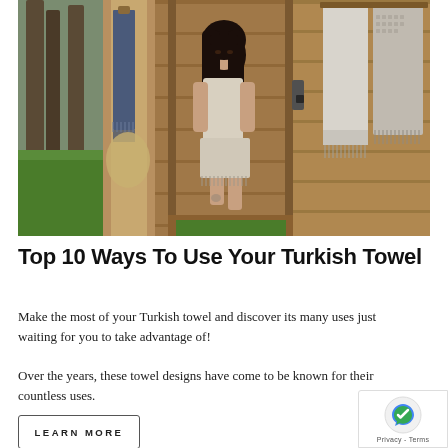[Figure (photo): Three-panel composite photo showing Turkish towels in a sauna/outdoor setting. Left panel: towels hanging outdoors near trees. Center panel: woman wrapped in a Turkish towel sitting in a wooden sauna doorway. Right panel: folded Turkish towels hanging on wooden sauna wall.]
Top 10 Ways To Use Your Turkish Towel
Make the most of your Turkish towel and discover its many uses just waiting for you to take advantage of!
Over the years, these towel designs have come to be known for their countless uses.
LEARN MORE